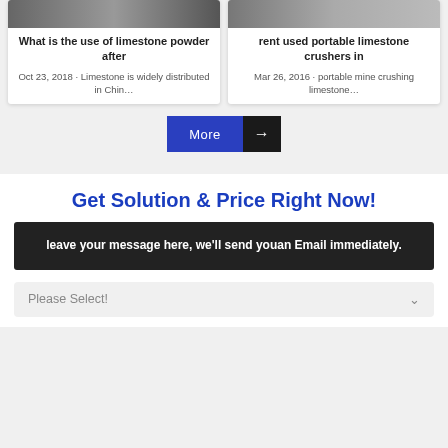[Figure (screenshot): Partial image of machinery/equipment at top of left card]
What is the use of limestone powder after
Oct 23, 2018 · Limestone is widely distributed in Chin…
[Figure (screenshot): Partial image of limestone crushers/equipment at top of right card]
rent used portable limestone crushers in
Mar 26, 2016 · portable mine crushing limestone…
More →
Get Solution & Price Right Now!
leave your message here, we'll send youan Email immediately.
Please Select!